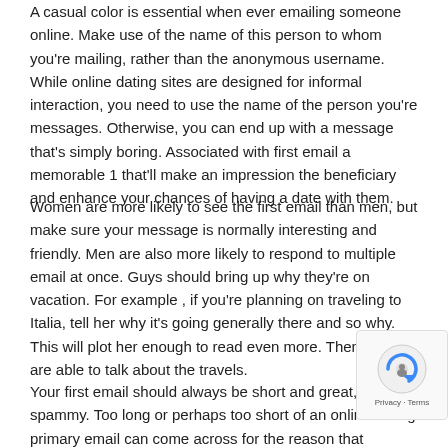A casual color is essential when ever emailing someone online. Make use of the name of this person to whom you're mailing, rather than the anonymous username. While online dating sites are designed for informal interaction, you need to use the name of the person you're messages. Otherwise, you can end up with a message that's simply boring. Associated with first email a memorable 1 that'll make an impression the beneficiary and enhance your chances of having a date with them.
Women are more likely to see the first email than men, but make sure your message is normally interesting and friendly. Men are also more likely to respond to multiple email at once. Guys should bring up why they're on vacation. For example , if you're planning on traveling to Italia, tell her why it's going generally there and so why. This will plot her enough to read even more. Then, you are able to talk about the travels.
Your first email should always be short and great, but not spammy. Too long or perhaps too short of an online dating primary email can come across for the reason that spammy. Besides, differing people type differently into account that you must type carefully whilst crafting your sales principles. Besides, always make sure to include the first term at the